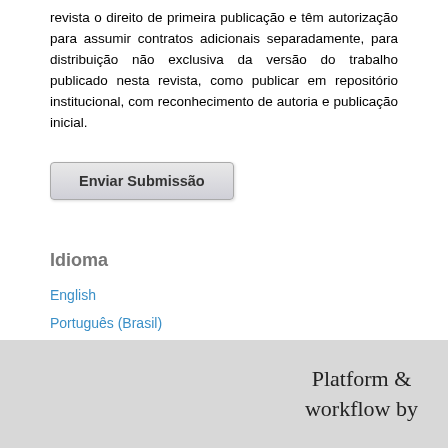revista o direito de primeira publicação e têm autorização para assumir contratos adicionais separadamente, para distribuição não exclusiva da versão do trabalho publicado nesta revista, como publicar em repositório institucional, com reconhecimento de autoria e publicação inicial.
Enviar Submissão
Idioma
English
Português (Brasil)
Platform & workflow by